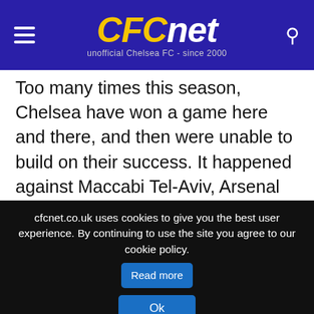CFCnet - unofficial Chelsea FC - since 2000
Too many times this season, Chelsea have won a game here and there, and then were unable to build on their success. It happened against Maccabi Tel-Aviv, Arsenal and Walsall, but they were unable to build on that run of games. Then it could have come from a good performance against Dynamo Kiev at home. But it didn't.
However, this time it feels different. Chelsea played one of their first complete performances this season. The result should definitely allow them to build on their success, especially given the level of competition they are about to come up against.
cfcnet.co.uk uses cookies to give you the best user experience. By continuing to use the site you agree to our cookie policy. Read more Ok